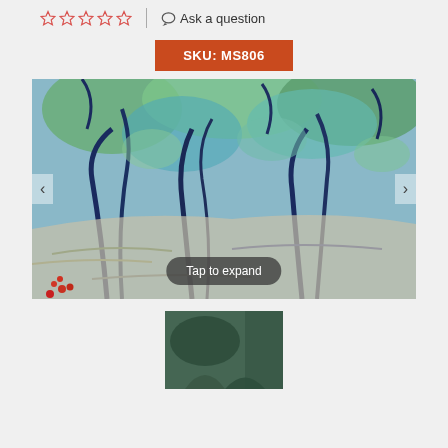☆☆☆☆☆ | 💬 Ask a question
SKU: MS806
[Figure (photo): Van Gogh style painting of olive trees with swirling blue and green tones, a path through the grove, red flowers at the bottom, with left/right navigation arrows and a 'Tap to expand' overlay button]
[Figure (photo): Thumbnail of a dark green painting, partially visible at the bottom of the page]